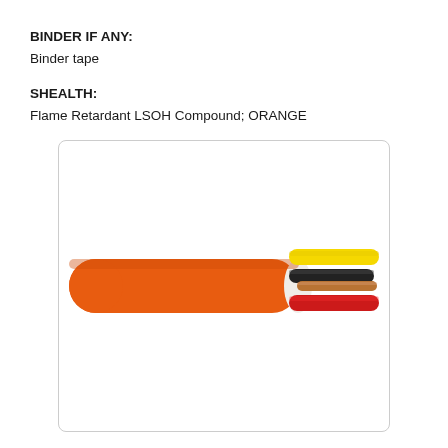BINDER IF ANY:
Binder tape
SHEALTH:
Flame Retardant LSOH Compound; ORANGE
[Figure (photo): Cross-section view of an orange LSOH flame retardant cable showing the orange outer sheath on the left, with exposed internal wires (yellow, black, red, and bare copper/brown) fanning out to the right.]